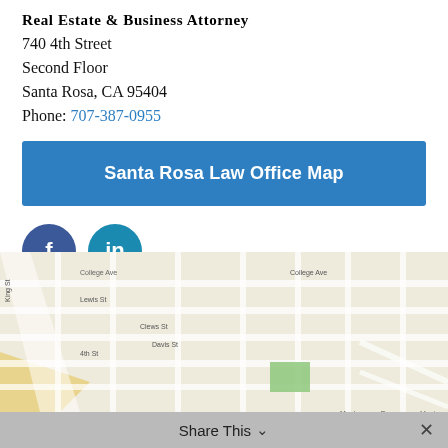Real Estate & Business Attorney
740 4th Street
Second Floor
Santa Rosa, CA 95404
Phone: 707-387-0955
Santa Rosa Law Office Map
[Figure (other): Facebook and LinkedIn social media icon circles]
[Figure (map): Street map of Santa Rosa area showing roads and intersections near the law office location]
Share This